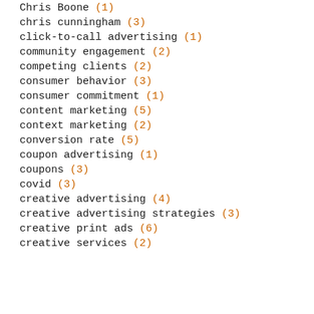Chris Boone (1)
chris cunningham (3)
click-to-call advertising (1)
community engagement (2)
competing clients (2)
consumer behavior (3)
consumer commitment (1)
content marketing (5)
context marketing (2)
conversion rate (5)
coupon advertising (1)
coupons (3)
covid (3)
creative advertising (4)
creative advertising strategies (3)
creative print ads (6)
creative services (?)